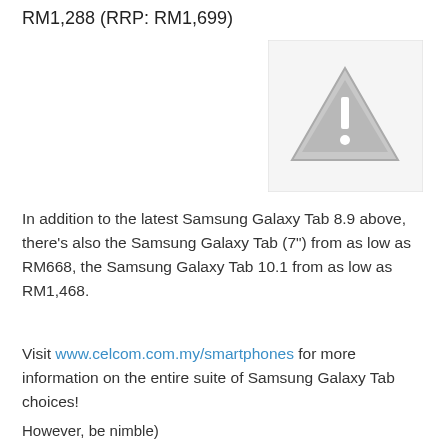RM1,288 (RRP: RM1,699)
[Figure (photo): Broken/missing image placeholder with warning triangle icon]
In addition to the latest Samsung Galaxy Tab 8.9 above, there’s also the Samsung Galaxy Tab (7”) from as low as RM668, the Samsung Galaxy Tab 10.1 from as low as RM1,468.
Visit www.celcom.com.my/smartphones for more information on the entire suite of Samsung Galaxy Tab choices!
However, be nimble)